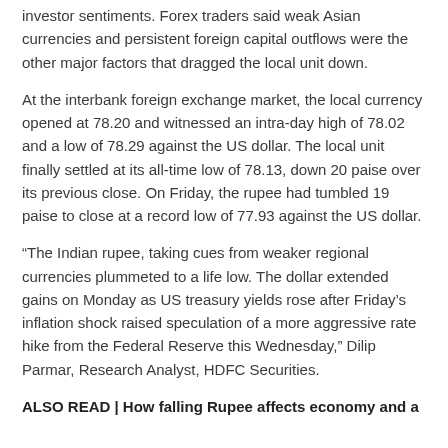investor sentiments. Forex traders said weak Asian currencies and persistent foreign capital outflows were the other major factors that dragged the local unit down.
At the interbank foreign exchange market, the local currency opened at 78.20 and witnessed an intra-day high of 78.02 and a low of 78.29 against the US dollar. The local unit finally settled at its all-time low of 78.13, down 20 paise over its previous close. On Friday, the rupee had tumbled 19 paise to close at a record low of 77.93 against the US dollar.
“The Indian rupee, taking cues from weaker regional currencies plummeted to a life low. The dollar extended gains on Monday as US treasury yields rose after Friday’s inflation shock raised speculation of a more aggressive rate hike from the Federal Reserve this Wednesday,” Dilip Parmar, Research Analyst, HDFC Securities.
ALSO READ | How falling Rupee affects economy and a